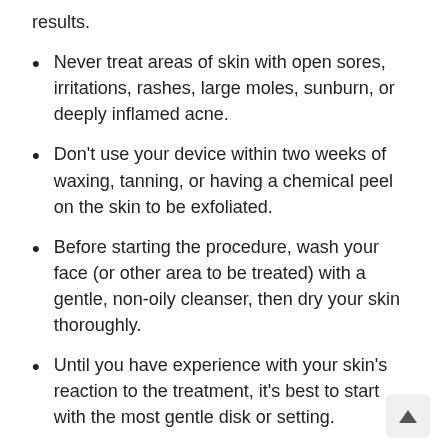results.
Never treat areas of skin with open sores, irritations, rashes, large moles, sunburn, or deeply inflamed acne.
Don't use your device within two weeks of waxing, tanning, or having a chemical peel on the skin to be exfoliated.
Before starting the procedure, wash your face (or other area to be treated) with a gentle, non-oily cleanser, then dry your skin thoroughly.
Until you have experience with your skin's reaction to the treatment, it's best to start with the most gentle disk or setting.
Gently pull your skin taut as you work, keepin...